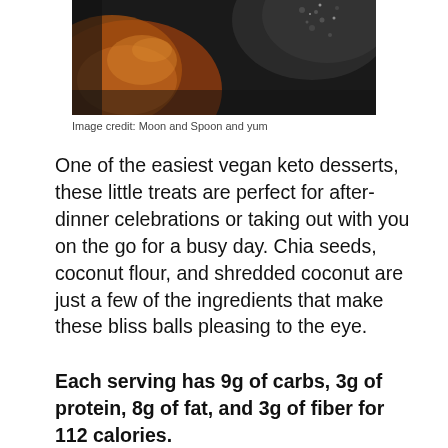[Figure (photo): Close-up photo of dark-colored bliss balls with textured coating on a dark background]
Image credit: Moon and Spoon and yum
One of the easiest vegan keto desserts, these little treats are perfect for after-dinner celebrations or taking out with you on the go for a busy day. Chia seeds, coconut flour, and shredded coconut are just a few of the ingredients that make these bliss balls pleasing to the eye.
Each serving has 9g of carbs, 3g of protein, 8g of fat, and 3g of fiber for 112 calories.